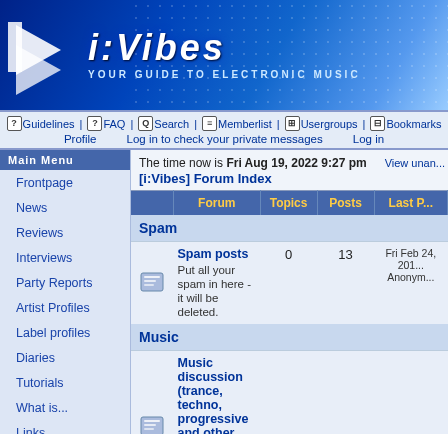[Figure (screenshot): i:Vibes website banner header with logo, arrows graphic, and tagline 'YOUR GUIDE TO ELECTRONIC MUSIC' on blue gradient background]
Guidelines | FAQ | Search | Memberlist | Usergroups | Bookmarks | Profile | Log in to check your private messages | Log in
The time now is Fri Aug 19, 2022 9:27 pm
[i:Vibes] Forum Index
| Forum | Topics | Posts | Last P... |
| --- | --- | --- | --- |
| Spam |  |  |  |
| Spam posts
Put all your spam in here - it will be deleted. | 0 | 13 | Fri Feb 24, 201... Anonym... |
| Music |  |  |  |
| Music discussion (trance, techno, progressive and other genres)
Discuss anything music related in here |  |  |  |
Frontpage
News
Reviews
Interviews
Party Reports
Artist Profiles
Label profiles
Diaries
Tutorials
What is...
Links